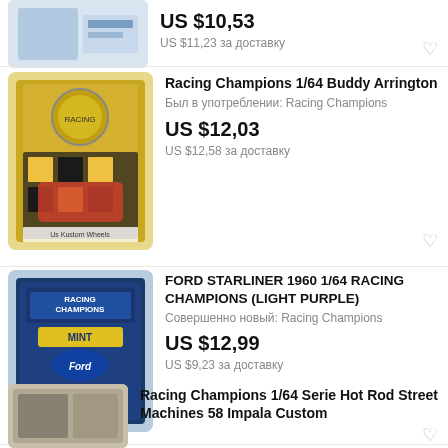[Figure (photo): Partial product listing image of a toy car in packaging]
US $10,53
US $11,23 за доставку
[Figure (photo): Racing Champions 1/64 Buddy Arrington toy car in gold checkered packaging, labeled 'US Kustom Wheels']
Racing Champions 1/64 Buddy Arrington
Был в употреблении: Racing Champions
US $12,03
US $12,58 за доставку
[Figure (photo): Racing Champions Mint Ford Starliner 1960 1/64 in blue packaging]
FORD STARLINER 1960 1/64 RACING CHAMPIONS (LIGHT PURPLE)
Совершенно новый: Racing Champions
US $12,99
US $9,23 за доставку
[Figure (photo): Partial listing image of Racing Champions 1/64 Serie Hot Rod Street Machines]
Racing Champions 1/64 Serie Hot Rod Street Machines 58 Impala Custom